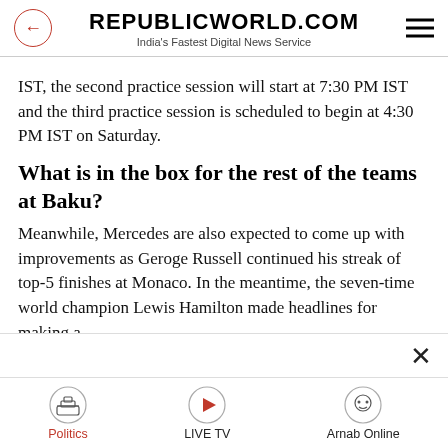REPUBLICWORLD.COM
India's Fastest Digital News Service
IST, the second practice session will start at 7:30 PM IST and the third practice session is scheduled to begin at 4:30 PM IST on Saturday.
What is in the box for the rest of the teams at Baku?
Meanwhile, Mercedes are also expected to come up with improvements as Geroge Russell continued his streak of top-5 finishes at Monaco. In the meantime, the seven-time world champion Lewis Hamilton made headlines for making a
Politics  LIVE TV  Arnab Online